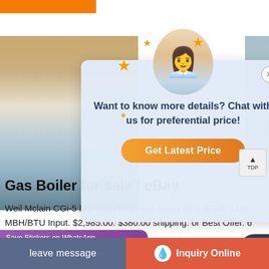[Figure (screenshot): Orange brand bar at top left of webpage]
[Figure (screenshot): Background product image of a gas boiler in an industrial setting]
[Figure (screenshot): Chat popup overlay with customer service representative avatar, stars decoration, chat text 'Want to know more details? Chat with us for preferential price!' and orange 'Get Latest Price' button]
Gas Boiler for sale | eBay
Weil Mclain CGi-5 Nat Gas Hot Water Boiler 84% AFUE 119K MBH/BTU Input. $2,985.00. $380.00 shipping. or Best Offer. 6
[Figure (screenshot): WhatsApp Save Stickers banner with purple background showing WhatsApp and smiley face icons]
[Figure (screenshot): Bottom navigation bar with 'leave message' button on left (grey-blue) and 'Inquiry Online' button on right (orange-red) with fire/droplet icon]